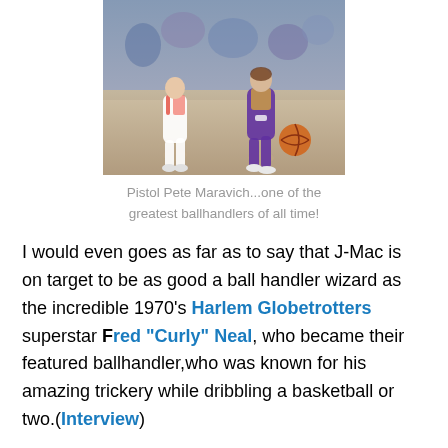[Figure (photo): Basketball action photo showing Pistol Pete Maravich dribbling past a defender on the court, with crowd in background.]
Pistol Pete Maravich...one of the greatest ballhandlers of all time!
I would even goes as far as to say that J-Mac is on target to be as good a ball handler wizard as the incredible 1970's Harlem Globetrotters superstar Fred "Curly" Neal, who became their featured ballhandler,who was known for his amazing trickery while dribbling a basketball or two.(Interview)
As a child in the 1970's I was able to witness this first hand, and not only did he dribble the ball in every way